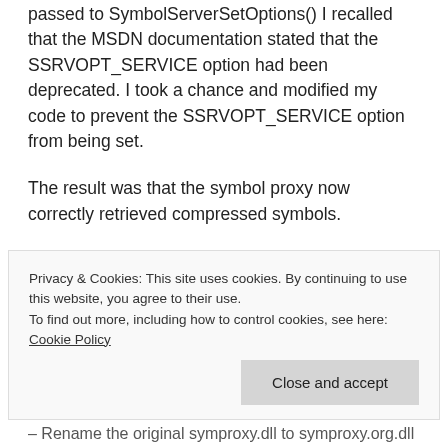passed to SymbolServerSetOptions() I recalled that the MSDN documentation stated that the SSRVOPT_SERVICE option had been deprecated. I took a chance and modified my code to prevent the SSRVOPT_SERVICE option from being set.
The result was that the symbol proxy now correctly retrieved compressed symbols.
I now have a working symbol proxy that fixes the problems experienced with case sensitive web servers and compressed symbols.
Privacy & Cookies: This site uses cookies. By continuing to use this website, you agree to their use.
To find out more, including how to control cookies, see here: Cookie Policy
Close and accept
– Rename the original symproxy.dll to symproxy.org.dll